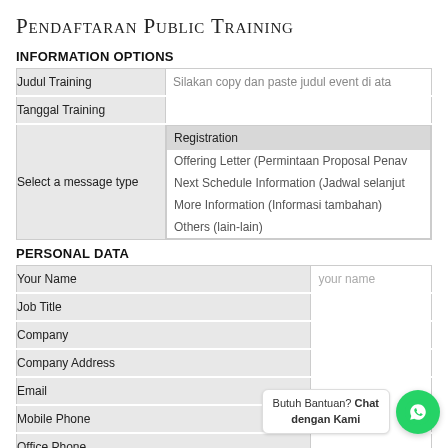Pendaftaran Public Training
INFORMATION OPTIONS
| Field | Value |
| --- | --- |
| Judul Training | Silakan copy dan paste judul event di ata |
| Tanggal Training |  |
| Select a message type | Registration | Offering Letter (Permintaan Proposal Penaw | Next Schedule Information (Jadwal selanjut | More Information (Informasi tambahan) | Others (lain-lain) |
PERSONAL DATA
| Field | Value |
| --- | --- |
| Your Name | your name |
| Job Title |  |
| Company |  |
| Company Address |  |
| Email |  |
| Mobile Phone |  |
| Office Phone |  |
| Extention No. |  |
Butuh Bantuan? Chat dengan Kami